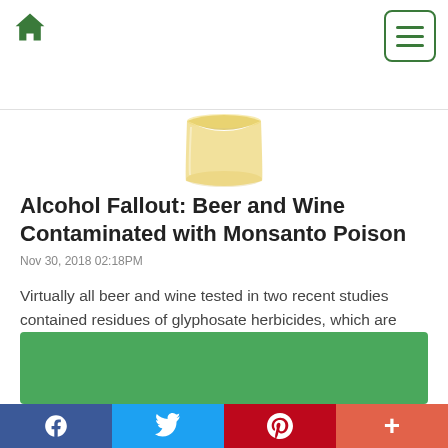Home / Menu
[Figure (photo): Partial image of a glass of amber liquid (beer or whiskey) on a white background, cropped to show just the bottom portion]
Alcohol Fallout: Beer and Wine Contaminated with Monsanto Poison
Nov 30, 2018 02:18PM
Virtually all beer and wine tested in two recent studies contained residues of glyphosate herbicides, which are neurotoxic, endocrine disruptive and damaging to the liver.
Read More »
[Figure (other): Green banner/card element at the bottom of the article]
Facebook | Twitter | Pinterest | +